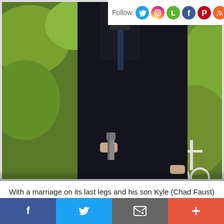[Figure (photo): A person in a dark coat holding a gun at their side, outdoors with green foliage in the background. Another person partially visible to the right.]
With a marriage on its last legs and his son Kyle (Chad Faust) in a coma ever since his cousin Shawn (Patrick Fl...
[Figure (infographic): Bottom social share bar with Facebook, Twitter, email/envelope, and plus buttons]